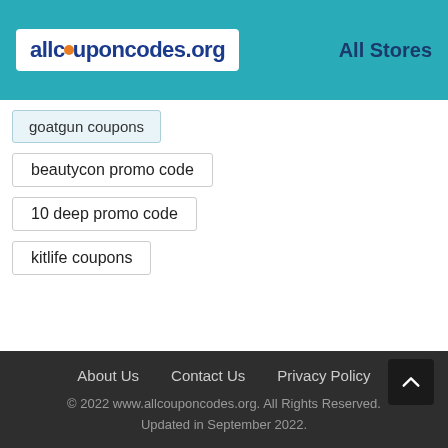allcouponcodes.org | All Stores
goatgun coupons
beautycon promo code
10 deep promo code
kitlife coupons
About Us   Contact Us   Privacy Policy
© 2022 www.allcouponcodes.org. All Rights Reserved. Updated in September 2022.